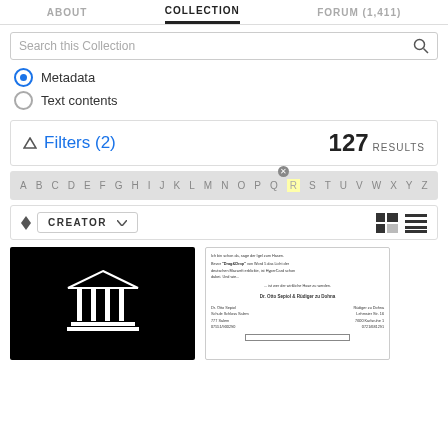ABOUT   COLLECTION   FORUM (1,411)
Search this Collection
Metadata
Text contents
Filters (2)  127 RESULTS
A B C D E F G H I J K L M N O P Q R S T U V W X Y Z
CREATOR
[Figure (screenshot): Archive.org logo — white building icon on black background]
[Figure (screenshot): Document preview showing German text and names Dr. Otto Sepiol & Rüdiger zu Dohna]